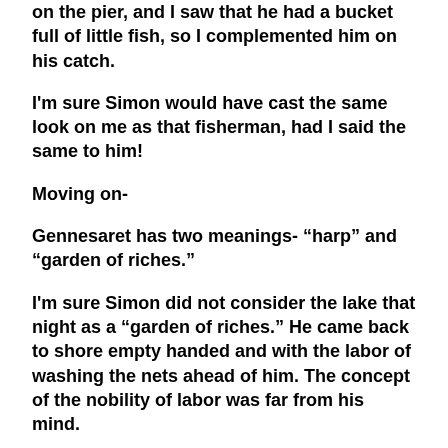on the pier, and I saw that he had a bucket full of little fish, so I complemented him on his catch.
I'm sure Simon would have cast the same look on me as that fisherman, had I said the same to him!
Moving on-
Gennesaret has two meanings- “harp” and “garden of riches.”
I'm sure Simon did not consider the lake that night as a “garden of riches.” He came back to shore empty handed and with the labor of washing the nets ahead of him. The concept of the nobility of labor was far from his mind.
He couldn’t see into his future, moments away, the